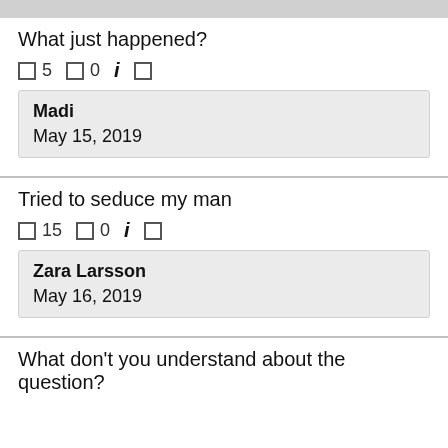What just happened?
5  0  i
Madi
May 15, 2019
Tried to seduce my man
15  0  i
Zara Larsson
May 16, 2019
What don't you understand about the question?